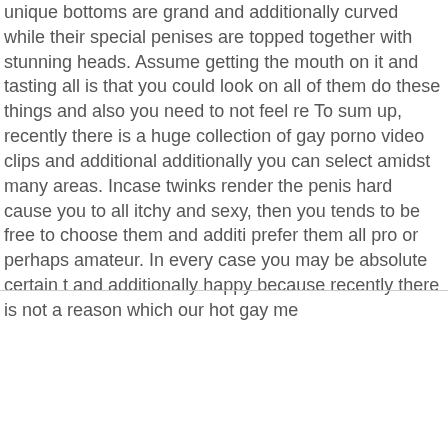unique bottoms are grand and additionally curved while their special penises are topped together with stunning heads. Assume getting the mouth on it and tasting all is that you could look on all of them do these things and also you need to not feel re To sum up, recently there is a huge collection of gay porno video clips and additional additionally you can select amidst many areas. Incase twinks render the penis hard cause you to all itchy and sexy, then you tends to be free to choose them and additi prefer them all pro or perhaps amateur. In every case you may be absolute certain t and additionally happy because recently there is not a reason which our hot gay me